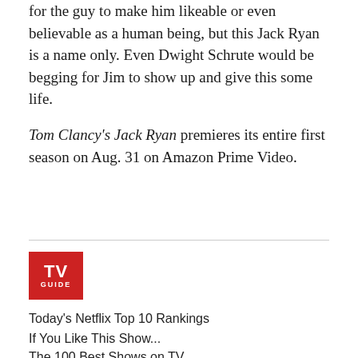for the guy to make him likeable or even believable as a human being, but this Jack Ryan is a name only. Even Dwight Schrute would be begging for Jim to show up and give this some life.
Tom Clancy's Jack Ryan premieres its entire first season on Aug. 31 on Amazon Prime Video.
[Figure (logo): TV Guide logo — red square with white bold text 'TV' on top and 'GUIDE' below]
Today's Netflix Top 10 Rankings
If You Like This Show...
The 100 Best Shows on TV